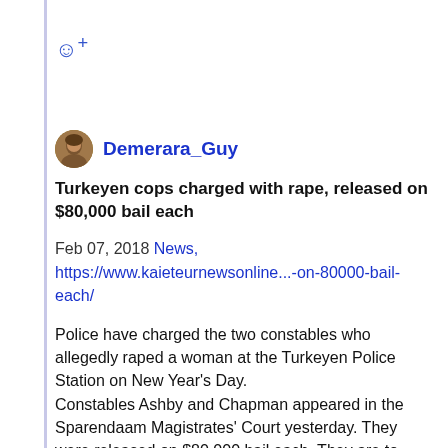☺+
Demerara_Guy
Turkeyen cops charged with rape, released on $80,000 bail each
Feb 07, 2018 News, https://www.kaieteurnewsonline...-on-80000-bail-each/
Police have charged the two constables who allegedly raped a woman at the Turkeyen Police Station on New Year's Day. Constables Ashby and Chapman appeared in the Sparendaam Magistrates' Court yesterday. They were released on $80,000 bail each. They are to return to court on February 21.